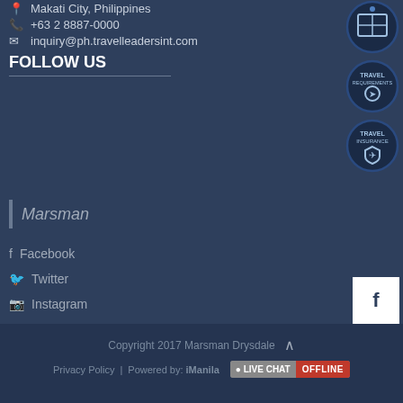Makati City, Philippines
+63 2 8887-0000
inquiry@ph.travelleadersint.com
FOLLOW US
Marsman
Facebook
Twitter
Instagram
[Figure (infographic): Map/location circle icon]
[Figure (infographic): Travel requirements circle icon]
[Figure (infographic): Travel insurance circle icon]
[Figure (logo): Facebook square icon]
[Figure (logo): Twitter square icon]
[Figure (logo): Instagram square icon]
Copyright 2017 Marsman Drysdale
Privacy Policy | Powered by: iManila  LIVE CHAT  OFFLINE